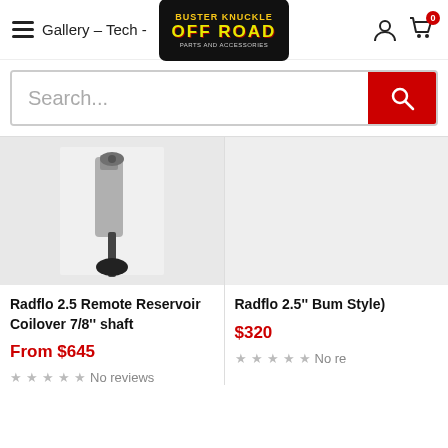Gallery – Tech - Buster Knuckle Off Road Parts and Accessories
Search...
[Figure (photo): Radflo 2.5 Remote Reservoir Coilover shock absorber with 7/8 inch shaft against white background]
Radflo 2.5 Remote Reservoir Coilover 7/8" shaft
From $645
No reviews
Radflo 2.5" Bum Style)
$320
No re